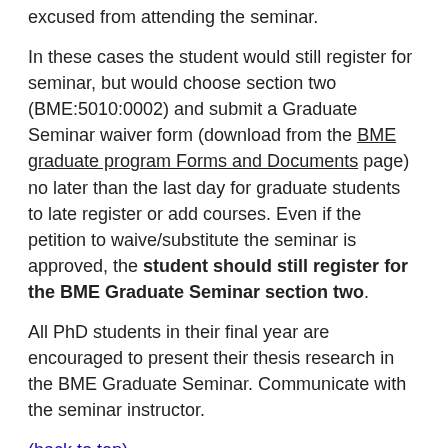excused from attending the seminar.
In these cases the student would still register for seminar, but would choose section two (BME:5010:0002) and submit a Graduate Seminar waiver form (download from the BME graduate program Forms and Documents page) no later than the last day for graduate students to late register or add courses. Even if the petition to waive/substitute the seminar is approved, the student should still register for the BME Graduate Seminar section two.
All PhD students in their final year are encouraged to present their thesis research in the BME Graduate Seminar. Communicate with the seminar instructor.
(back to top)
Academic Standing, Probation,